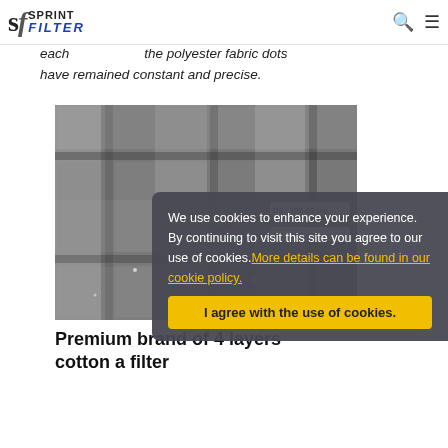Sprint Filter logo with search and menu icons
frames in the water stream and mobile precision filtration data are function for each paper filter rating data have remained constant and precise.
[Figure (photo): Microscope image of filter material showing fiber weave pattern with measurement annotations: D3: 185.03 μm and D4: 137.47 μm]
Premium brand of 4 layers cotton a filter
We use cookies to enhance your experience. By continuing to visit this site you agree to our use of cookies. More details can be found in our cookie policy.
I agree with the use of cookies.